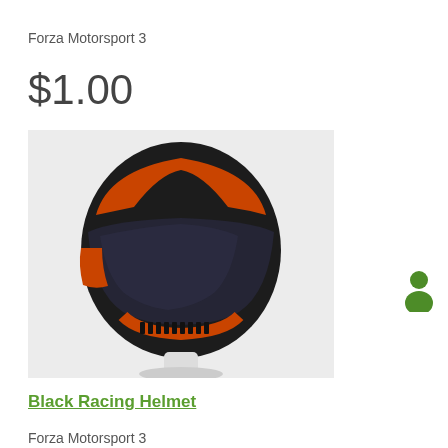Forza Motorsport 3
$1.00
[Figure (photo): Black and orange racing helmet on white mannequin head]
Black Racing Helmet
Forza Motorsport 3
$1.99
[Figure (photo): Blue Fujimi Kaido t-shirt on white mannequin torso]
[Figure (other): Single green avatar person icon]
[Figure (other): Two green avatar person icons side by side]